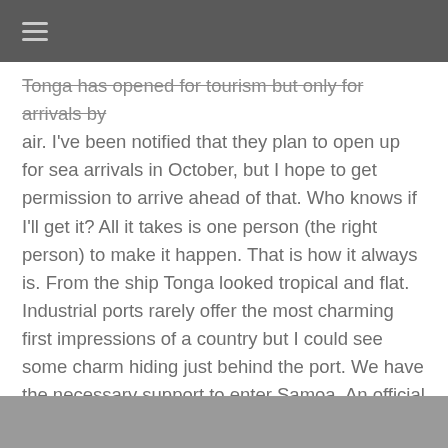≡
Tonga has opened for tourism but only for arrivals by air. I've been notified that they plan to open up for sea arrivals in October, but I hope to get permission to arrive ahead of that. Who knows if I'll get it? All it takes is one person (the right person) to make it happen. That is how it always is. From the ship Tonga looked tropical and flat. Industrial ports rarely offer the most charming first impressions of a country but I could see some charm hiding just behind the port. We have the necessary support to enter Samoa. An official invitation from government as well as passage granted by Swire Shipping's management. Wonderful!! That is the kind of support we need to secure the much-needed progress. And for Samoa we have just that. It is a short crossover from Tonga to Samoa: eta Apia August 21st. I can't wait to get there!! :)
[Figure (photo): Partial photo strip visible at the bottom of the page]